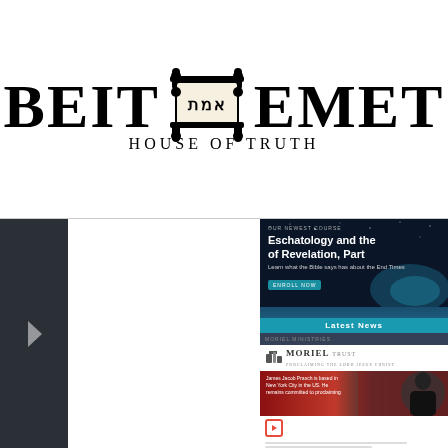[Figure (logo): Beit Emet (House of Truth) logo with Torah scroll graphic between the words BEIT and EMET, and text HOUSE OF TRUTH below]
[Figure (screenshot): Website screenshot showing a dark sidebar on the left, a white main content area, and a right column with two panels: an Eschatology and the Book of Revelation course advertisement (dark blue starfield background with Latest News bar), and a Moriel Ministries panel with logo, video thumbnail, play button, and welcome text.]